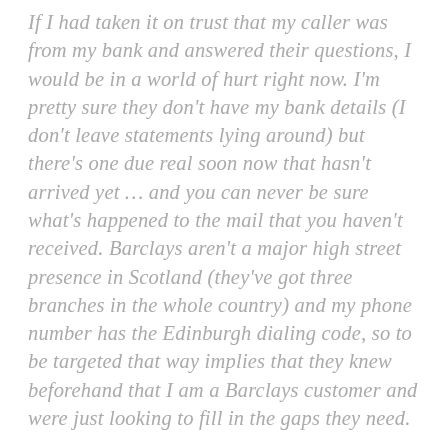If I had taken it on trust that my caller was from my bank and answered their questions, I would be in a world of hurt right now. I'm pretty sure they don't have my bank details (I don't leave statements lying around) but there's one due real soon now that hasn't arrived yet … and you can never be sure what's happened to the mail that you haven't received. Barclays aren't a major high street presence in Scotland (they've got three branches in the whole country) and my phone number has the Edinburgh dialing code, so to be targeted that way implies that they knew beforehand that I am a Barclays customer and were just looking to fill in the gaps they need.